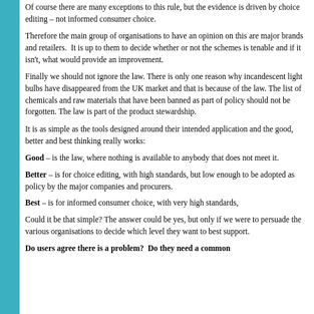Of course there are many exceptions to this rule, but the evidence is driven by choice editing – not informed consumer choice.
Therefore the main group of organisations to have an opinion on this are major brands and retailers. It is up to them to decide whether or not the schemes is tenable and if it isn't, what would provide an improvement.
Finally we should not ignore the law. There is only one reason why incandescent light bulbs have disappeared from the UK market and that is because of the law. The list of chemicals and raw materials that have been banned as part of policy should not be forgotten. The law is part of the product stewardship.
It is as simple as the tools designed around their intended application and the good, better and best thinking really works:
Good – is the law, where nothing is available to anybody that does not meet it.
Better – is for choice editing, with high standards, but low enough to be adopted as policy by the major companies and procurers.
Best – is for informed consumer choice, with very high standards,
Could it be that simple? The answer could be yes, but only if we were to persuade the various organisations to decide which level they want to best support.
Do users agree there is a problem? Do they need a common